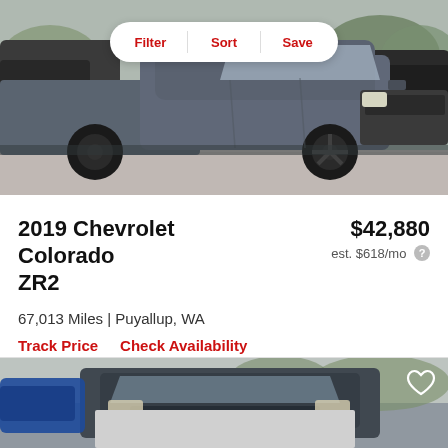[Figure (photo): Gray 2019 Chevrolet Colorado ZR2 truck parked in a lot, viewed from the side, with other vehicles and trees in background. Filter, Sort, Save toolbar overlaid at top center.]
2019 Chevrolet Colorado ZR2
$42,880
est. $618/mo
67,013 Miles | Puyallup, WA
Track Price  Check Availability
[Figure (photo): Partial view of another vehicle listing below, showing front of a dark truck with blue vehicle partially visible on the left, and a heart/save icon in the top right corner. A gray placeholder rectangle is visible at the bottom.]